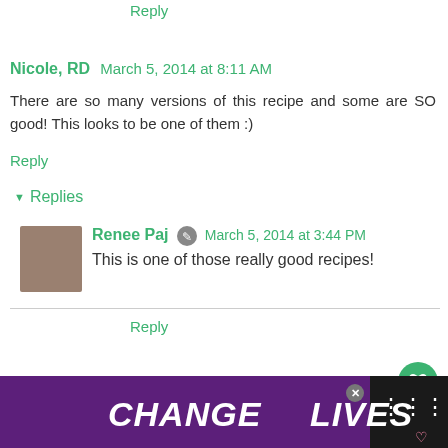Reply
Nicole, RD   March 5, 2014 at 8:11 AM
There are so many versions of this recipe and some are SO good! This looks to be one of them :)
Reply
Replies
Renee Paj   March 5, 2014 at 3:44 PM
This is one of those really good recipes!
Reply
Anonymous   March 5, 2014 at 2:34 PM
I got 320 calories per serving, how did you get 1150
[Figure (infographic): Advertisement banner: purple background with cats, text reading CHANGE LIVES]